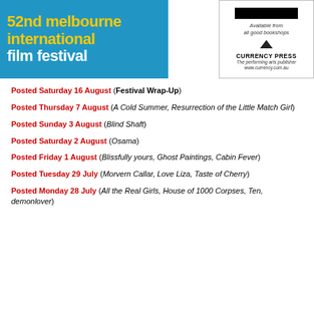[Figure (logo): 52nd Melbourne International Film Festival blue logo with yellow and white text]
[Figure (logo): Currency Press advertisement: Available from all good bookshops, Currency Press, The performing arts publisher, www.currency.com.au]
Posted Saturday 16 August (Festival Wrap-Up)
Posted Thursday 7 August (A Cold Summer, Resurrection of the Little Match Girl)
Posted Sunday 3 August (Blind Shaft)
Posted Saturday 2 August (Osama)
Posted Friday 1 August (Blissfully yours, Ghost Paintings, Cabin Fever)
Posted Tuesday 29 July (Morvern Callar, Love Liza, Taste of Cherry)
Posted Monday 28 July (All the Real Girls, House of 1000 Corpses, Ten, demonlover)